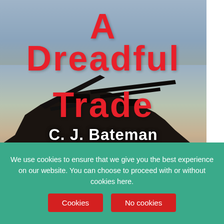[Figure (illustration): Book cover of 'A Dreadful Trade' by C. J. Bateman. Large red bold title text 'A Dreadful Trade' on a gradient sky background with a dark silhouette of a military weapon (possibly a machine gun or artillery) in the lower portion. Author name 'C. J. Bateman' in white bold text. A sidebar tab on the right reads 'More HOT Stuff'.]
We use cookies to ensure that we give you the best experience on our website. You can choose to proceed with or without cookies here.
Cookies
No cookies